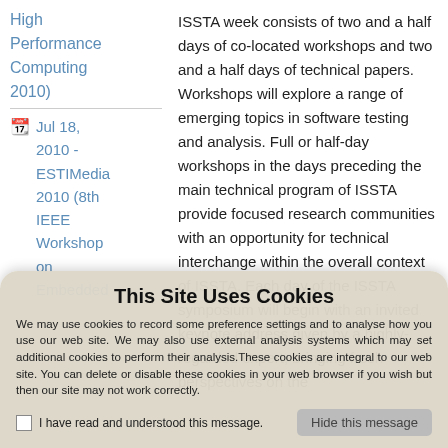High Performance Computing 2010)
Jul 18, 2010 - ESTIMedia 2010 (8th IEEE Workshop on Embedded
ISSTA week consists of two and a half days of co-located workshops and two and a half days of technical papers. Workshops will explore a range of emerging topics in software testing and analysis. Full or half-day workshops in the days preceding the main technical program of ISSTA provide focused research communities with an opportunity for technical interchange within the overall context of ISSTA. Each day of the ISSTA symposium will begin with an invited keynote address given by a highly-regarded expert, bringing fresh perspectives on the
This Site Uses Cookies
We may use cookies to record some preference settings and to analyse how you use our web site. We may also use external analysis systems which may set additional cookies to perform their analysis. These cookies are integral to our web site. You can delete or disable these cookies in your web browser if you wish but then our site may not work correctly.
I have read and understood this message.
Hide this message